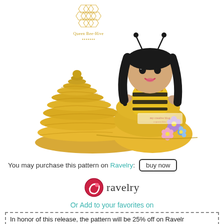[Figure (photo): Crocheted queen bee doll figure in yellow and black bee costume with black hair and antennae, standing next to a crocheted beehive, with purple and pink flowers on the yellow dress. Logo 'Queen Bee-Hive' visible in upper area with honeycomb graphic.]
You may purchase this pattern on Ravelry:
[Figure (logo): Ravelry logo: red/pink yarn ball swirl icon followed by the word 'ravelry' in dark gray sans-serif text]
Or Add to your favorites on
In honor of this release, the pattern will be 25% off on Ravelr